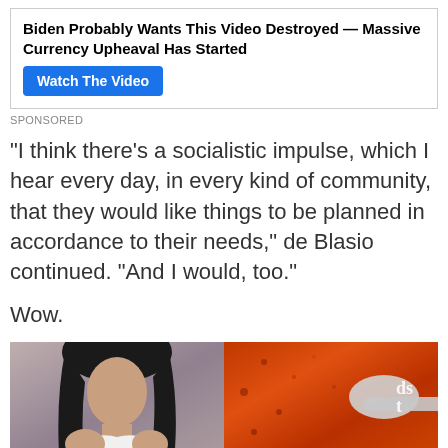[Figure (other): Advertisement box with bold headline 'Biden Probably Wants This Video Destroyed — Massive Currency Upheaval Has Started' and a blue 'Watch The Video' button]
SPONSORED
“I think there’s a socialistic impulse, which I hear every day, in every kind of community, that they would like things to be planned in accordance to their needs,” de Blasio continued. “And I would, too.”
Wow.
[Figure (photo): Two-panel image: left side shows a young woman in a white tank top looking down holding a small white cup; right side shows a close-up of orange/brown spice on a measuring spoon with text 'dst' visible]